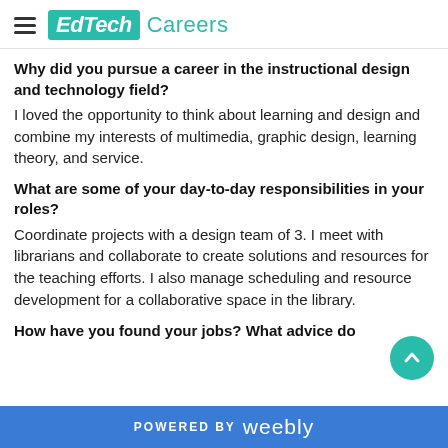EdTech Careers
Why did you pursue a career in the instructional design and technology field?
I loved the opportunity to think about learning and design and combine my interests of multimedia, graphic design, learning theory, and service.
What are some of your day-to-day responsibilities in your roles?
Coordinate projects with a design team of 3. I meet with librarians and collaborate to create solutions and resources for the teaching efforts. I also manage scheduling and resource development for a collaborative space in the library.
How have you found your jobs? What advice do
POWERED BY weebly